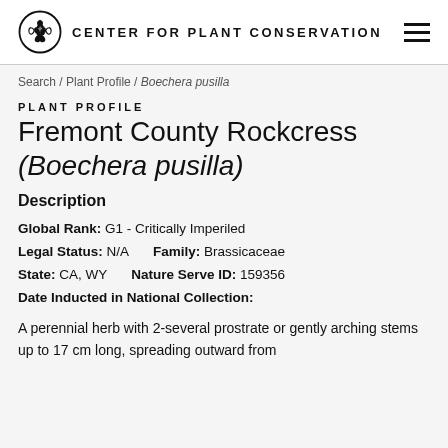CENTER FOR PLANT CONSERVATION
Search / Plant Profile / Boechera pusilla
PLANT PROFILE
Fremont County Rockcress (Boechera pusilla)
Description
Global Rank: G1 - Critically Imperiled
Legal Status: N/A     Family: Brassicaceae
State: CA, WY     Nature Serve ID: 159356
Date Inducted in National Collection:
A perennial herb with 2-several prostrate or gently arching stems up to 17 cm long, spreading outward from